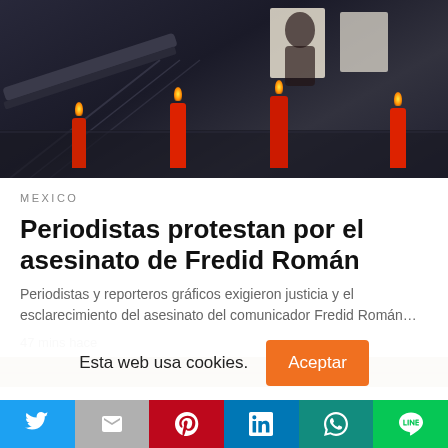[Figure (photo): Dark indoor scene showing red candles lit on a reflective floor, with escalators and protest signs in the background]
MEXICO
Periodistas protestan por el asesinato de Fredid Román
Periodistas y reporteros gráficos exigieron justicia y el esclarecimiento del asesinato del comunicador Fredid Román…
47 mins hace
[Figure (photo): Partial view of a second article image, showing wooden or bamboo textures in brown tones]
Esta web usa cookies.
Aceptar